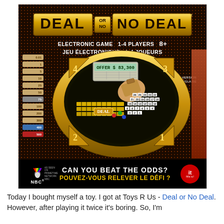[Figure (photo): Box art for 'Deal or No Deal' electronic board game. Gold and black design with the game title in large gold letters. Shows the game board with numbered briefcases arranged in a cross pattern, an electronic display showing 'OFFER $83,300', NBC logo, age rating 8+, 1-4 players. Bottom text reads: 'CAN YOU BEAT THE ODDS? / POUVEZ-VOUS RELEVER LE DÉFI?']
Today I bought myself a toy. I got at Toys R Us - Deal or No Deal. However, after playing it twice it's boring. So, I'm